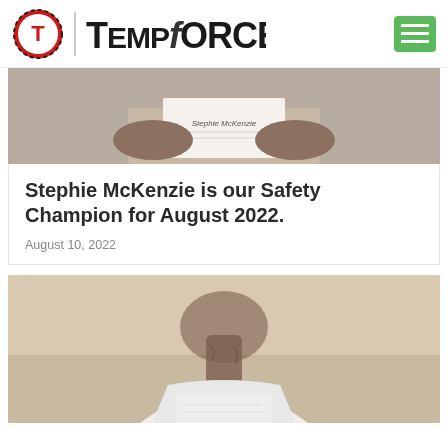[Figure (logo): TempForce logo with circular T icon, vertical divider, and TempForce wordmark in bold stylized font]
[Figure (photo): Person holding a certificate that reads Stephie McKenzie, upper body visible against light background]
Stephie McKenzie is our Safety Champion for August 2022.
August 10, 2022
[Figure (photo): Person wearing white t-shirt holding a document, visible from waist up, tattooed neck visible]